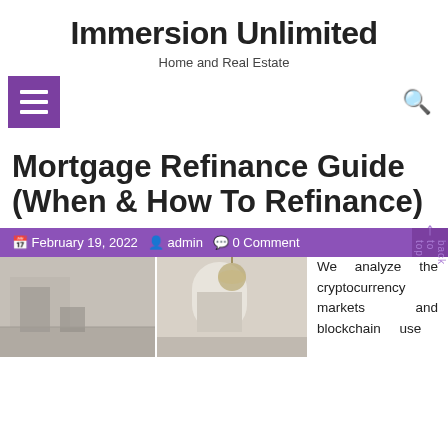Immersion Unlimited
Home and Real Estate
[Figure (other): Purple hamburger/menu button icon on left, search magnifier icon on right]
Mortgage Refinance Guide (When & How To Refinance)
📅 February 19, 2022  👤 admin  💬 0 Comment
[Figure (photo): Two interior home photos side by side: left shows a minimalist room, right shows a dining area with arched window and chandelier]
We analyze the cryptocurrency markets and blockchain use